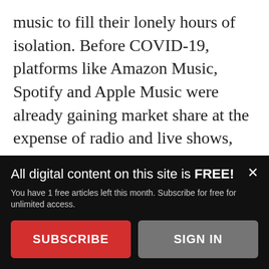music to fill their lonely hours of isolation. Before COVID-19, platforms like Amazon Music, Spotify and Apple Music were already gaining market share at the expense of radio and live shows, and now they're more quickly crowding out older ways of listening.
But is the convenience of listening to the latest Dua Lipa track with the simple tap of a finger worth making up-and-coming musicians struggle
All digital content on this site is FREE!
You have 1 free articles left this month. Subscribe for free for unlimited access.
SUBSCRIBE
SIGN IN